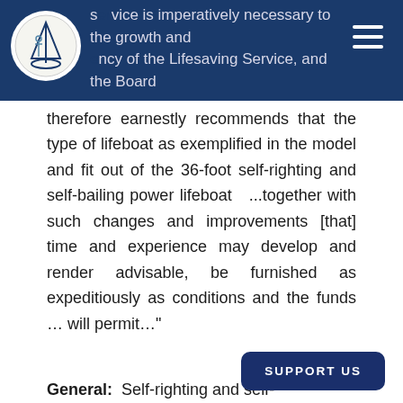service is imperatively necessary to the growth and efficiency of the Lifesaving Service, and the Board
therefore earnestly recommends that the type of lifeboat as exemplified in the model and fit out of the 36-foot self-righting and self-bailing power lifeboat ...together with such changes and improvements [that] time and experience may develop and render advisable, be furnished as expeditiously as conditions and the funds ... will permit..."
Full specifications of this boat, designed by Capt. McLellan, include:
General: Self-righting and self-